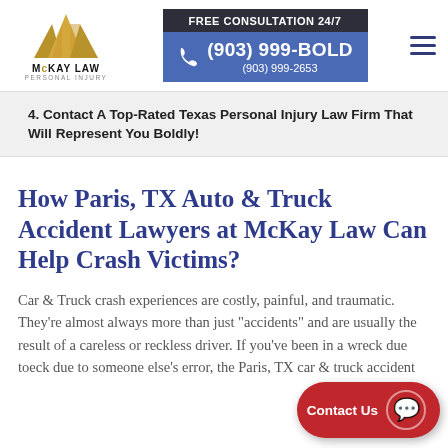[Figure (logo): McKay Law Personal Injury gold triangle logo with firm name]
[Figure (infographic): Free Consultation 24/7 phone block with number (903) 999-BOLD / (903) 999-2653 on blue background]
4.  Contact A Top-Rated Texas Personal Injury Law Firm That Will Represent You Boldly!
How Paris, TX Auto & Truck Accident Lawyers at McKay Law Can Help Crash Victims?
Car & Truck crash experiences are costly, painful, and traumatic. They're almost always more than just "accidents" and are usually the result of a careless or reckless driver. If you've been in a wreck due to someone else's error, the Paris, TX car & truck accident